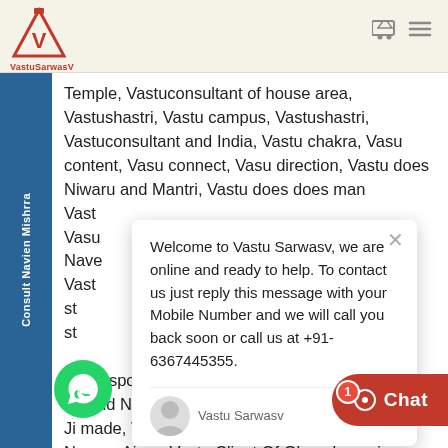VastuSarwasV
Temple, Vastuconsultant of house area, Vastushastri, Vastu campus, Vastushastri, Vastuconsultant and India, Vastu chakra, Vasu content, Vasu connect, Vasu direction, Vastu does Niwaru and Mantri, Vastu does does man Vast Vasu Nave Vast st st askar spot and Jodhpur, Vastu asked ert and Nareda, VAS PSExpres Ji made, Vastu expertCall Mahavas Nagpur Ajmer Vastu Client Of Ghanshyam is
Welcome to Vastu Sarwasv, we are online and ready to help. To contact us just reply this message with your Mobile Number and we will call you back soon or call us at +91-6367445355.
Vastu Sarwasv     just now